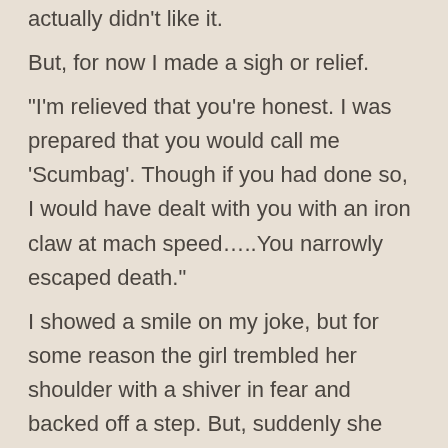actually didn't like it.
But, for now I made a sigh or relief.
“I’m relieved that you’re honest. I was prepared that you would call me ‘Scumbag’. Though if you had done so, I would have dealt with you with an iron claw at mach speed…..You narrowly escaped death.”
I showed a smile on my joke, but for some reason the girl trembled her shoulder with a shiver in fear and backed off a step. But, suddenly she stepped forward, grabbed my collar and looked at me with a fierce glint in her eyes.
“…I came here today to judge if you’re suitable for Miyuki-chan or not. Should I decide that you’re just